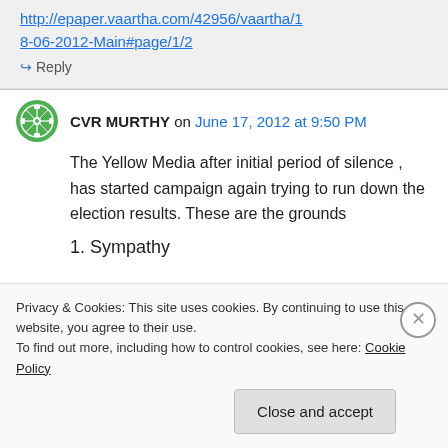http://epaper.vaartha.com/42956/vaartha/18-06-2012-Main#page/1/2
↪ Reply
CVR MURTHY on June 17, 2012 at 9:50 PM
The Yellow Media after initial period of silence , has started campaign again trying to run down the election results. These are the grounds
1. Sympathy
Privacy & Cookies: This site uses cookies. By continuing to use this website, you agree to their use.
To find out more, including how to control cookies, see here: Cookie Policy
Close and accept